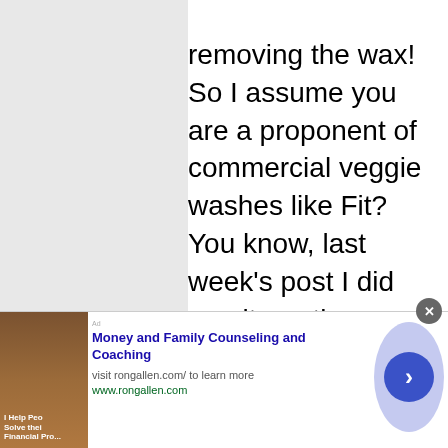removing the wax! So I assume you are a proponent of commercial veggie washes like Fit? You know, last week's post I did on alternative uses for vinegar and baking soda (among other things) mentioned that those items could also be used as a produce wash. BTW, the report did mention that thin skin produce was more susceptible to contamination.
@Susan: You know me, Susan – I am 100% Italian. Tomatoes are one of our four basic food groups. 😉 Did you notice you can get a whole case of 28 oz
[Figure (infographic): Advertisement banner for Money and Family Counseling and Coaching by rongallen.com, with a photo of a man and navigation arrow button]